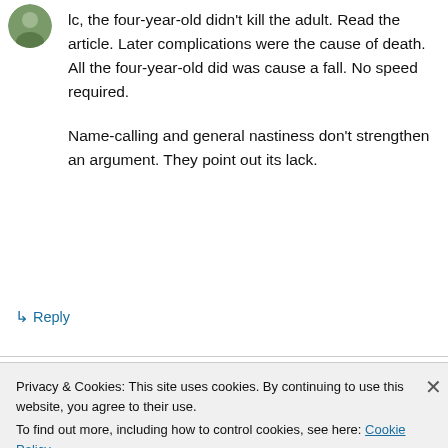lc, the four-year-old didn't kill the adult. Read the article. Later complications were the cause of death. All the four-year-old did was cause a fall. No speed required.

Name-calling and general nastiness don't strengthen an argument. They point out its lack.
↳ Reply
Mike Doven on 20 October 2019 at 15:05
Privacy & Cookies: This site uses cookies. By continuing to use this website, you agree to their use.
To find out more, including how to control cookies, see here: Cookie Policy
Close and accept